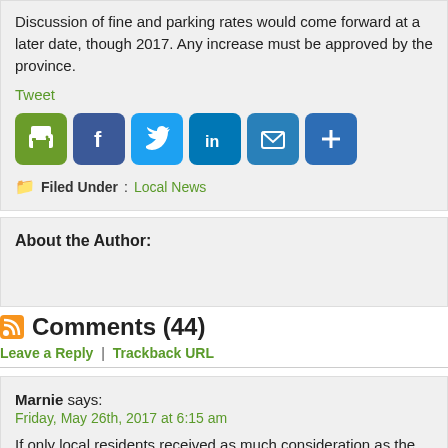Discussion of fine and parking rates would come forward at a later date, though 2017. Any increase must be approved by the province.
Tweet
[Figure (infographic): Social share buttons: Print (green), Facebook (blue), Twitter (light blue), LinkedIn (dark blue), Email (blue), More/Plus (dark blue)]
Filed Under: Local News
About the Author:
Comments (44)
Leave a Reply | Trackback URL
Marnie says: Friday, May 26th, 2017 at 6:15 am
If only local residents received as much consideration as the tourists.